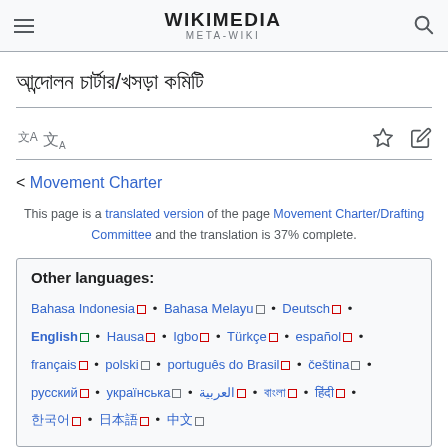WIKIMEDIA META-WIKI
আন্দোলন চার্টার/খসড়া কমিটি
< Movement Charter
This page is a translated version of the page Movement Charter/Drafting Committee and the translation is 37% complete.
Other languages: Bahasa Indonesia • Bahasa Melayu • Deutsch • English • Hausa • Igbo • Türkçe • español • français • polski • português do Brasil • čeština • русский • українська • العربية • বাংলা • हिंदी • 한국어 • 日本語 • 中文